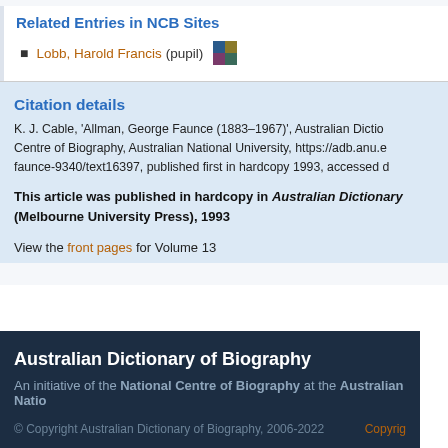Related Entries in NCB Sites
Lobb, Harold Francis (pupil)
Citation details
K. J. Cable, 'Allman, George Faunce (1883–1967)', Australian Dictionary of Biography, National Centre of Biography, Australian National University, https://adb.anu.e... faunce-9340/text16397, published first in hardcopy 1993, accessed d...
This article was published in hardcopy in Australian Dictionary (Melbourne University Press), 1993
View the front pages for Volume 13
Australian Dictionary of Biography
An initiative of the National Centre of Biography at the Australian National...
© Copyright Australian Dictionary of Biography, 2006-2022  Copyright...